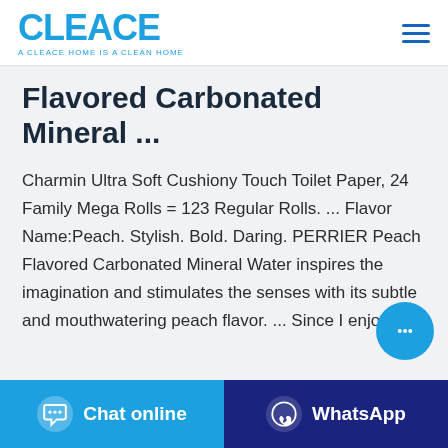CLEACE — A CLEACE HOME IS A CLEAN HOME
Flavored Carbonated Mineral ...
Charmin Ultra Soft Cushiony Touch Toilet Paper, 24 Family Mega Rolls = 123 Regular Rolls. ... Flavor Name:Peach. Stylish. Bold. Daring. PERRIER Peach Flavored Carbonated Mineral Water inspires the imagination and stimulates the senses with its subtle and mouthwatering peach flavor. ... Since I enjoy
[Figure (other): Floating chat bubble button (cyan circle with chat dots icon)]
Chat online | WhatsApp